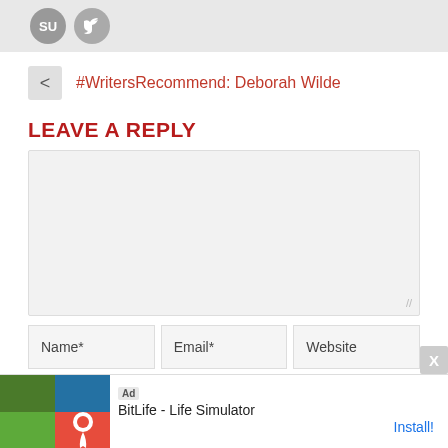[Figure (screenshot): Top bar with social share icons (StumbleUpon and Twitter)]
#WritersRecommend: Deborah Wilde
LEAVE A REPLY
[Figure (screenshot): Comment text area input box]
Name* | Email* | Website
[Figure (screenshot): Ad banner: BitLife - Life Simulator with Install link]